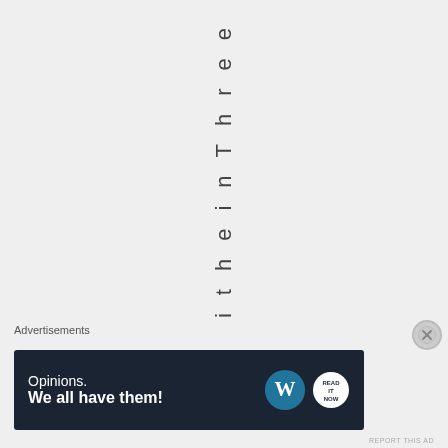i t h i n t h e T h r e e
Advertisements
[Figure (other): WordPress advertisement banner with text 'Opinions. We all have them!' and WordPress and BBM logos on dark navy background]